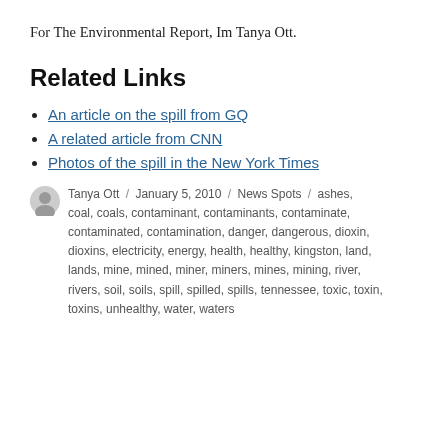For The Environmental Report, Im Tanya Ott.
Related Links
An article on the spill from GQ
A related article from CNN
Photos of the spill in the New York Times
Tanya Ott / January 5, 2010 / News Spots / ashes, coal, coals, contaminant, contaminants, contaminate, contaminated, contamination, danger, dangerous, dioxin, dioxins, electricity, energy, health, healthy, kingston, land, lands, mine, mined, miner, miners, mines, mining, river, rivers, soil, soils, spill, spilled, spills, tennessee, toxic, toxin, toxins, unhealthy, water, waters